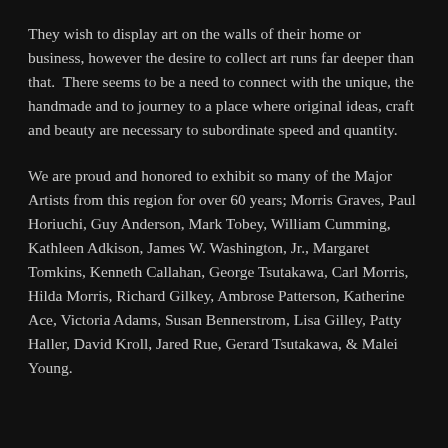They wish to display art on the walls of their home or business, however the desire to collect art runs far deeper than that.  There seems to be a need to connect with the unique, the handmade and to journey to a place where original ideas, craft and beauty are necessary to subordinate speed and quantity.
We are proud and honored to exhibit so many of the Major Artists from this region for over 60 years; Morris Graves, Paul Horiuchi, Guy Anderson, Mark Tobey, William Cumming, Kathleen Adkison, James W. Washington, Jr., Margaret Tomkins, Kenneth Callahan, George Tsutakawa, Carl Morris, Hilda Morris, Richard Gilkey, Ambrose Patterson, Katherine Ace, Victoria Adams, Susan Bennerstrom, Lisa Gilley, Patty Haller, David Kroll, Jared Rue, Gerard Tsutakawa, & Malei Young.